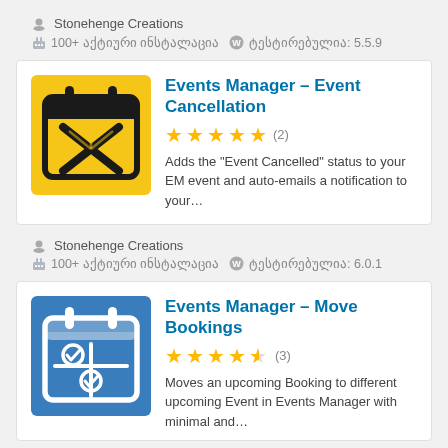Stonehenge Creations
100+ აქტიური ინსტალაცია  ტესტირებულია: 5.5.9
Events Manager – Event Cancellation
★★★★★ (2)
Adds the "Event Cancelled" status to your EM event and auto-emails a notification to your...
Stonehenge Creations
100+ აქტიური ინსტალაცია  ტესტირებულია: 6.0.1
Events Manager – Move Bookings
★★★★½ (3)
Moves an upcoming Booking to different upcoming Event in Events Manager with minimal and...